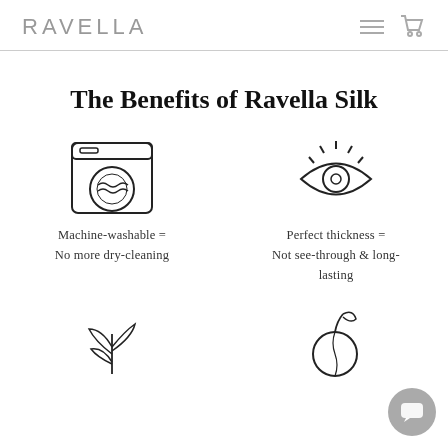RAVELLA
The Benefits of Ravella Silk
[Figure (illustration): Line icon of a washing machine with a circular drum and wavy lines inside]
Machine-washable = No more dry-cleaning
[Figure (illustration): Line icon of an eye with eyelashes and a circular iris]
Perfect thickness = Not see-through & long-lasting
[Figure (illustration): Line icon of a small plant with two leaves]
[Figure (illustration): Line icon of a peach or round fruit with a stem and leaves]